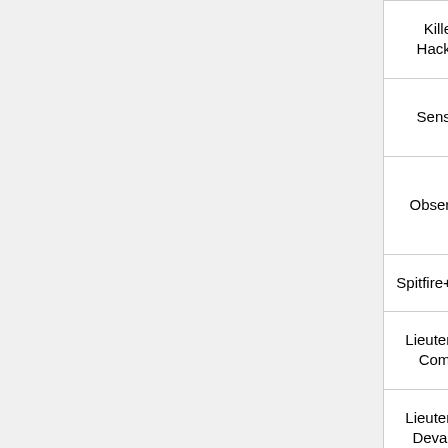| Name | Skills | Weapons | Equipment | Pts | SWC |
| --- | --- | --- | --- | --- | --- |
| Killer Hacker | Killer Hacking Device | Boarding Shotgun | Pistol, CCW | 26 | 0 |
| Sensor | Triangulated Fire, Sensor | Combi Rifle, Nanopulser | Pistol, CCW | 24 | 0 |
| Observer | Forward Observer | Combi Rifle, Nanopulser, Flash Pulse | Pistol, CCW | 24 | 0 |
| Spitfire+MSV | Multispectral Visor L2 | Spitfire, Nanopulser | Pistol, CCW |  |  |
| Lieutenant Combi | Lieutenant | Combi Rifle, Nanopulser | Pistol, CCW | 23 | 0 |
| Lieutenant Devabot | Lieutenant, Devabot | Combi Rifle, Nanopulser | Pistol, CCW | 27 |  |
| Lieutenant | Triangulated | Combi | Pistol, |  |  |